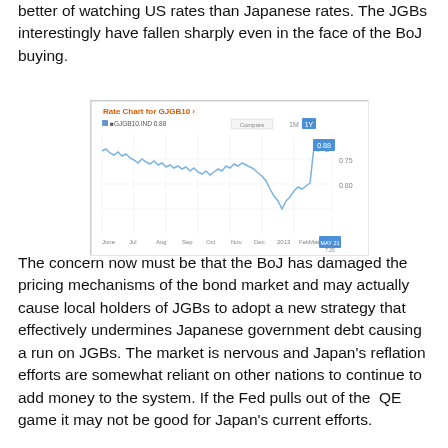better of watching US rates than Japanese rates. The JGBs interestingly have fallen sharply even in the face of the BoJ buying.
[Figure (continuous-plot): Rate Chart for GJGB10 showing a continuous line chart of GJGB10.IND over the time period from June to May 2013. The line fluctuates around 0.80-0.90 for most of the period, then drops sharply to around 0.60 before spiking up to 0.88 near the end. Y-axis labels: 0.75, 0.80. A tooltip shows 0.88 at the right end. X-axis labels: June, Jul, Aug, Sep, Oct, Nov, Dec, 2013, Feb, Mar, Apr, May.]
The concern now must be that the BoJ has damaged the pricing mechanisms of the bond market and may actually cause local holders of JGBs to adopt a new strategy that effectively undermines Japanese government debt causing a run on JGBs. The market is nervous and Japan's reflation efforts are somewhat reliant on other nations to continue to add money to the system. If the Fed pulls out of the QE game it may not be good for Japan's current efforts.